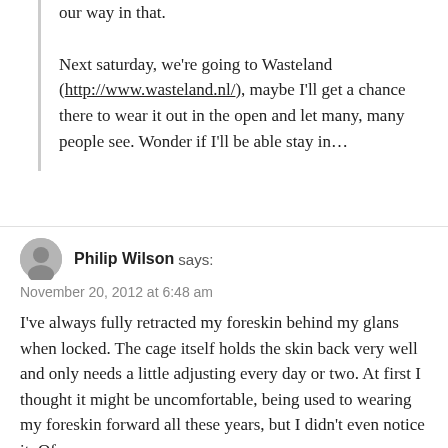our way in that.

Next saturday, we're going to Wasteland (http://www.wasteland.nl/), maybe I'll get a chance there to wear it out in the open and let many, many people see. Wonder if I'll be able stay in...
Philip Wilson says:
November 20, 2012 at 6:48 am
I've always fully retracted my foreskin behind my glans when locked. The cage itself holds the skin back very well and only needs a little adjusting every day or two. At first I thought it might be uncomfortable, being used to wearing my foreskin forward all these years, but I didn't even notice it. Of